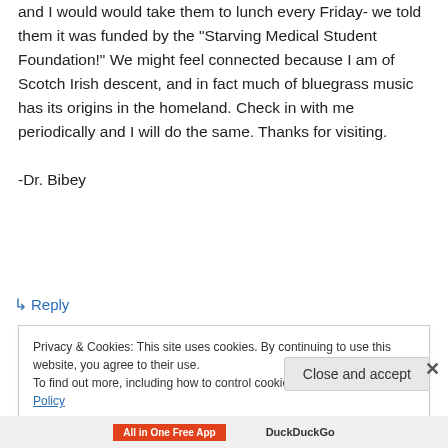and I would would take them to lunch every Friday- we told them it was funded by the "Starving Medical Student Foundation!" We might feel connected because I am of Scotch Irish descent, and in fact much of bluegrass music has its origins in the homeland. Check in with me periodically and I will do the same. Thanks for visiting.

-Dr. Bibey
↵ Reply
Privacy & Cookies: This site uses cookies. By continuing to use this website, you agree to their use.
To find out more, including how to control cookies, see here: Cookie Policy
Close and accept